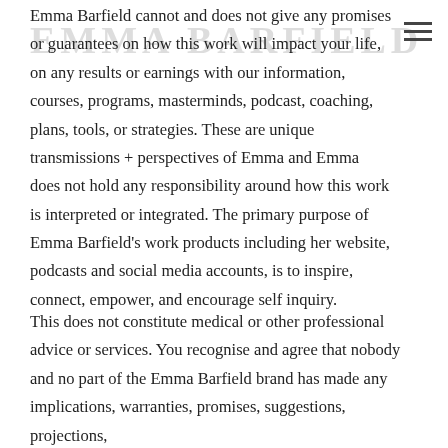EMMA BARFIELD
Emma Barfield cannot and does not give any promises or guarantees on how this work will impact your life, on any results or earnings with our information, courses, programs, masterminds, podcast, coaching, plans, tools, or strategies. These are unique transmissions + perspectives of Emma and Emma does not hold any responsibility around how this work is interpreted or integrated. The primary purpose of Emma Barfield's work products including her website, podcasts and social media accounts, is to inspire, connect, empower, and encourage self inquiry.
This does not constitute medical or other professional advice or services. You recognise and agree that nobody and no part of the Emma Barfield brand has made any implications, warranties, promises, suggestions, projections,